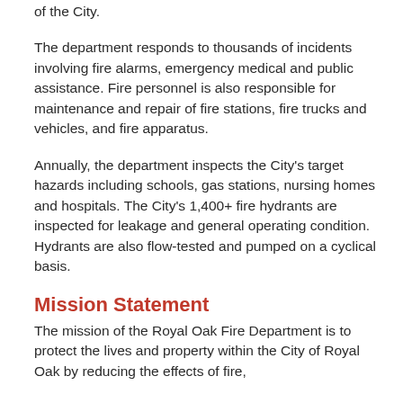of the City.
The department responds to thousands of incidents involving fire alarms, emergency medical and public assistance. Fire personnel is also responsible for maintenance and repair of fire stations, fire trucks and vehicles, and fire apparatus.
Annually, the department inspects the City's target hazards including schools, gas stations, nursing homes and hospitals. The City's 1,400+ fire hydrants are inspected for leakage and general operating condition. Hydrants are also flow-tested and pumped on a cyclical basis.
Mission Statement
The mission of the Royal Oak Fire Department is to protect the lives and property within the City of Royal Oak by reducing the effects of fire,